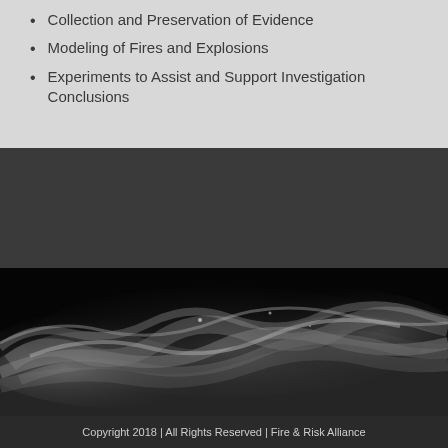Collection and Preservation of Evidence
Modeling of Fires and Explosions
Experiments to Assist and Support Investigation Conclusions
[Figure (photo): Black and white photograph of swirling smoke against a dark background]
Copyright 2018 | All Rights Reserved | Fire & Risk Alliance